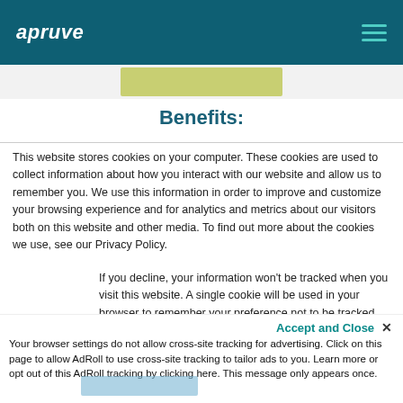apruve
[Figure (other): Olive/yellow-green rectangular button placeholder]
Benefits:
This website stores cookies on your computer. These cookies are used to collect information about how you interact with our website and allow us to remember you. We use this information in order to improve and customize your browsing experience and for analytics and metrics about our visitors both on this website and other media. To find out more about the cookies we use, see our Privacy Policy.
If you decline, your information won't be tracked when you visit this website. A single cookie will be used in your browser to remember your preference not to be tracked.
Accept and Close ×
Your browser settings do not allow cross-site tracking for advertising. Click on this page to allow AdRoll to use cross-site tracking to tailor ads to you. Learn more or opt out of this AdRoll tracking by clicking here. This message only appears once.